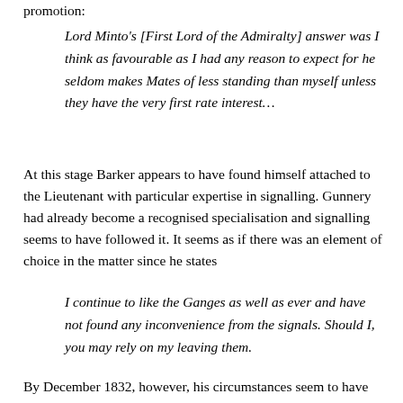promotion:
Lord Minto's [First Lord of the Admiralty] answer was I think as favourable as I had any reason to expect for he seldom makes Mates of less standing than myself unless they have the very first rate interest…
At this stage Barker appears to have found himself attached to the Lieutenant with particular expertise in signalling. Gunnery had already become a recognised specialisation and signalling seems to have followed it. It seems as if there was an element of choice in the matter since he states
I continue to like the Ganges as well as ever and have not found any inconvenience from the signals. Should I, you may rely on my leaving them.
By December 1832, however, his circumstances seem to have taken a change for the worse. HMS Donegal, third rate, was originally a